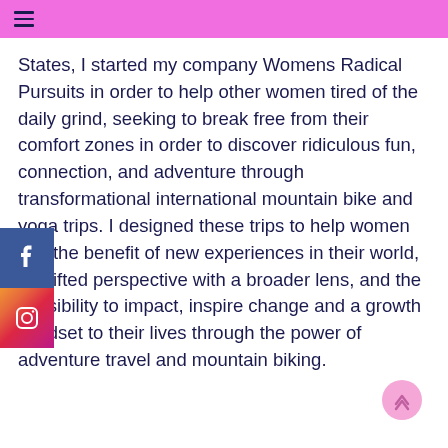≡
States, I started my company Womens Radical Pursuits in order to help other women tired of the daily grind, seeking to break free from their comfort zones in order to discover ridiculous fun, connection, and adventure through transformational international mountain bike and yoga trips. I designed these trips to help women see the benefit of new experiences in their world, a shifted perspective with a broader lens, and the possibility to impact, inspire change and a growth mindset to their lives through the power of adventure travel and mountain biking.